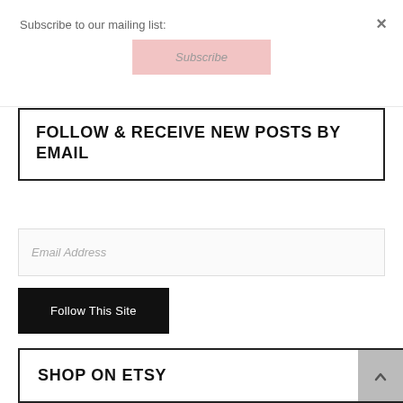Subscribe to our mailing list:
Subscribe
×
FOLLOW & RECEIVE NEW POSTS BY EMAIL
Email Address
Follow This Site
SHOP ON ETSY